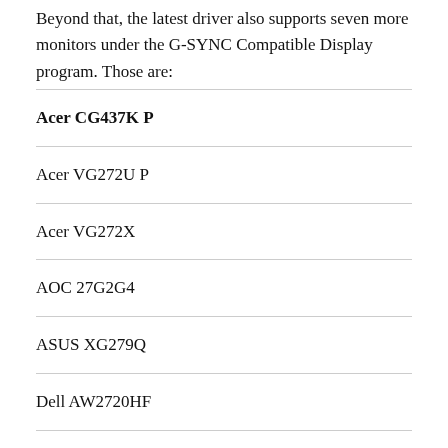Beyond that, the latest driver also supports seven more monitors under the G-SYNC Compatible Display program. Those are:
Acer CG437K P
Acer VG272U P
Acer VG272X
AOC 27G2G4
ASUS XG279Q
Dell AW2720HF
Lenovo Y27Q-20